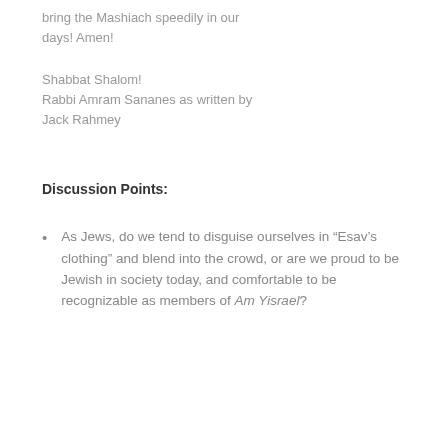bring the Mashiach speedily in our days! Amen!
Shabbat Shalom!
Rabbi Amram Sananes as written by Jack Rahmey
Discussion Points:
As Jews, do we tend to disguise ourselves in “Esav’s clothing” and blend into the crowd, or are we proud to be Jewish in society today, and comfortable to be recognizable as members of Am Yisrael?